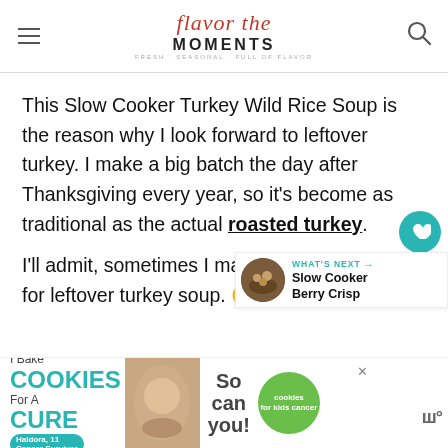Flavor the Moments — FRESH SEASONAL FULL OF FLAVOR
This Slow Cooker Turkey Wild Rice Soup is the reason why I look forward to leftover turkey. I make a big batch the day after Thanksgiving every year, so it's become as traditional as the actual roasted turkey.
I'll admit, sometimes I make turkey just for leftover turkey soup. 🙂
[Figure (screenshot): WHAT'S NEXT arrow — Slow Cooker Berry Crisp recommendation widget with circular food image]
[Figure (screenshot): Advertisement: I Bake COOKIES For A CURE — Haldora, 11 Cancer Survivor — So can you! — cookies for kids cancer badge]